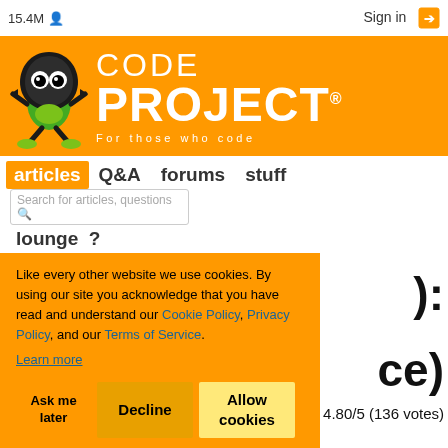15.4M users | Sign in
[Figure (logo): CodeProject logo with green mascot character and orange banner. Text reads CODE PROJECT For those who code]
articles  Q&A  forums  stuff  lounge  ?  Search for articles, questions
Like every other website we use cookies. By using our site you acknowledge that you have read and understand our Cookie Policy, Privacy Policy, and our Terms of Service. Learn more
Ask me later   Decline   Allow cookies
):
ce)
4.80/5 (136 votes)